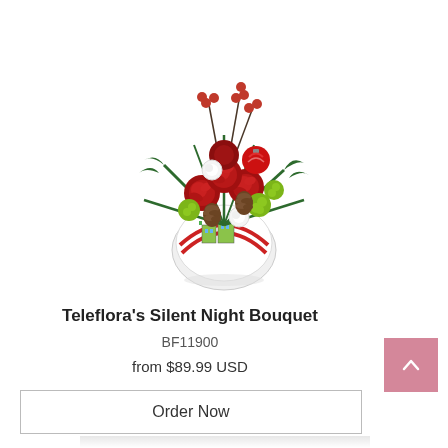[Figure (photo): A Christmas flower bouquet with red roses, white carnations, green button mums, pine cones, red berries, and evergreen stems arranged in a decorative holiday-themed glass orb vase with illustrated buildings.]
Teleflora's Silent Night Bouquet
BF11900
from $89.99 USD
Order Now
[Figure (photo): Partial bottom view of another flower arrangement, cropped at the bottom edge.]